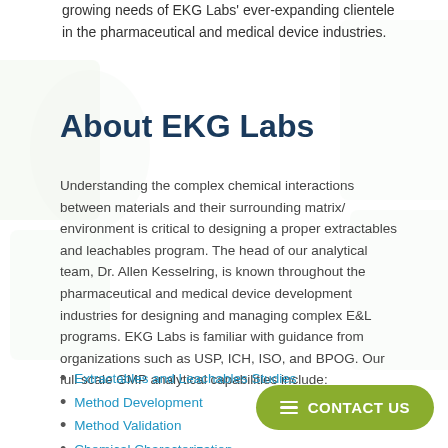growing needs of EKG Labs' ever-expanding clientele in the pharmaceutical and medical device industries.
About EKG Labs
Understanding the complex chemical interactions between materials and their surrounding matrix/ environment is critical to designing a proper extractables and leachables program. The head of our analytical team, Dr. Allen Kesselring, is known throughout the pharmaceutical and medical device development industries for designing and managing complex E&L programs. EKG Labs is familiar with guidance from organizations such as USP, ICH, ISO, and BPOG. Our full scale GMP analytical capabilities include:
Extractables and Leachables Studies
Method Development
Method Validation
Chemical Characterization
Impurity Identification